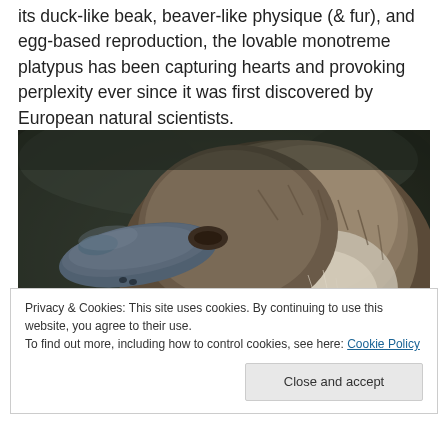its duck-like beak, beaver-like physique (& fur), and egg-based reproduction, the lovable monotreme platypus has been capturing hearts and provoking perplexity ever since it was first discovered by European natural scientists.
[Figure (photo): Close-up photograph of a platypus showing its duck-like beak and dense brown fur, against a dark blurred background.]
Privacy & Cookies: This site uses cookies. By continuing to use this website, you agree to their use.
To find out more, including how to control cookies, see here: Cookie Policy